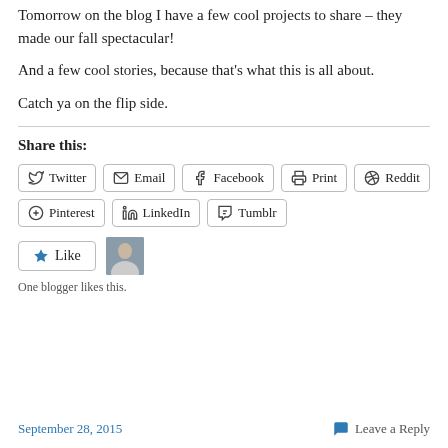Tomorrow on the blog I have a few cool projects to share – they made our fall spectacular!
And a few cool stories, because that's what this is all about.
Catch ya on the flip side.
Share this:
Twitter
Email
Facebook
Print
Reddit
Pinterest
LinkedIn
Tumblr
Like
One blogger likes this.
September 28, 2015 | Leave a Reply